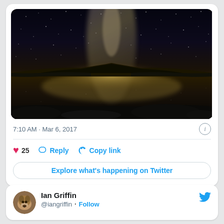[Figure (photo): Night sky photograph showing the Milky Way galaxy arching over a calm reflective lake with a silhouetted hill/mountain in the center, reflected in still water below]
7:10 AM · Mar 6, 2017
25   Reply   Copy link
Explore what's happening on Twitter
Ian Griffin
@iangriffin · Follow